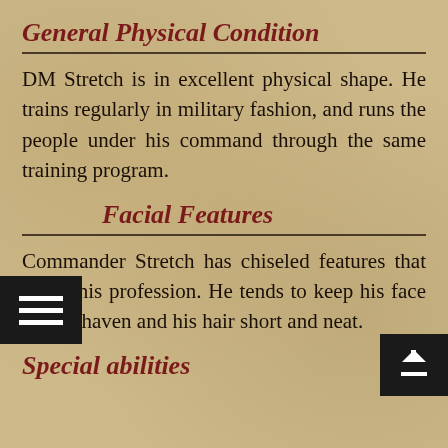General Physical Condition
DM Stretch is in excellent physical shape. He trains regularly in military fashion, and runs the people under his command through the same training program.
Facial Features
Commander Stretch has chiseled features that imply his profession. He tends to keep his face clean-shaven and his hair short and neat.
Special abilities